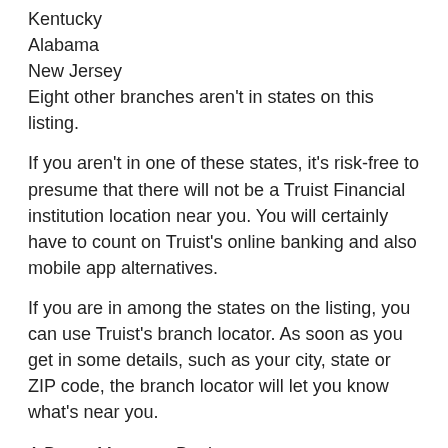Kentucky
Alabama
New Jersey
Eight other branches aren't in states on this listing.
If you aren't in one of these states, it's risk-free to presume that there will not be a Truist Financial institution location near you. You will certainly have to count on Truist's online banking and also mobile app alternatives.
If you are in among the states on the listing, you can use Truist's branch locator. As soon as you get in some details, such as your city, state or ZIP code, the branch locator will let you know what's near you.
A Better Means to Bank
Truist ATM Near Me